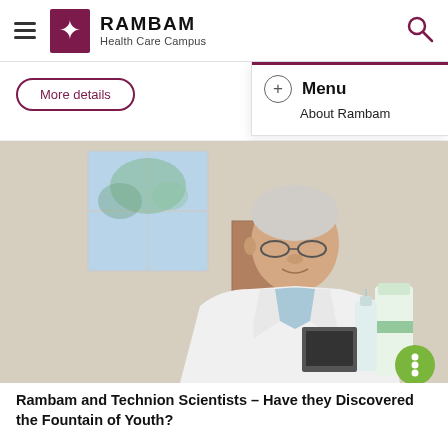RAMBAM Health Care Campus
More details
Menu
About Rambam
[Figure (photo): Elderly male doctor in white lab coat sitting at a desk in a medical office, wearing glasses, with shelves and supplies visible in background. A green circular button with three dots is overlaid at the bottom right.]
Rambam and Technion Scientists – Have they Discovered the Fountain of Youth?